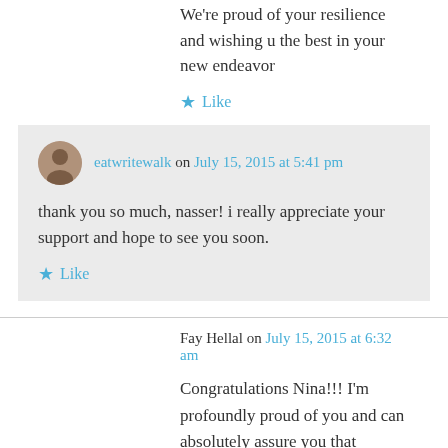We're proud of your resilience and wishing u the best in your new endeavor
★ Like
eatwritewalk on July 15, 2015 at 5:41 pm
thank you so much, nasser! i really appreciate your support and hope to see you soon.
★ Like
Fay Hellal on July 15, 2015 at 6:32 am
Congratulations Nina!!! I'm profoundly proud of you and can absolutely assure you that Airbnb's